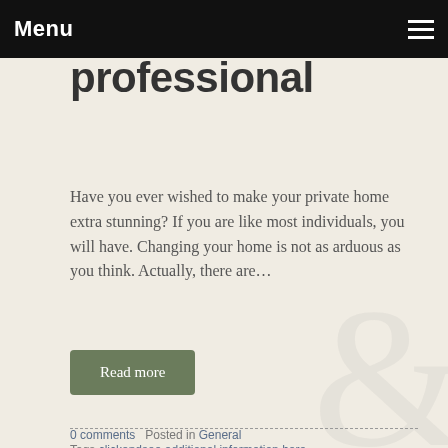Menu
professional
Have you ever wished to make your private home extra stunning? If you are like most individuals, you will have. Changing your home is not as arduous as you think. Actually, there are…
Read more
0 comments   Posted in General   Tags clickandsee additional information here
GET THE SKINNY ON PERSONAL ACCIDENTS